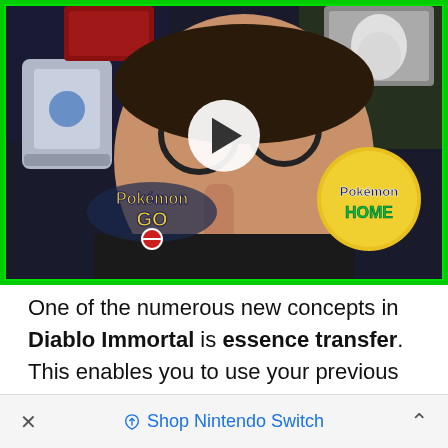[Figure (screenshot): YouTube-style video thumbnail showing a person wearing glasses holding their hand to their face, with Pokemon GO and Pokemon HOME logos visible, and a play button overlay. Green border around the thumbnail.]
One of the numerous new concepts in Diablo Immortal is essence transfer. This enables you to use your previous gear instead of merely repairing it. This tutorial will teach you all you need to know about Essence Transfer in Diablo Immortal. Including how to unlock it and how to inherit power from items.
× Shop Nintendo Switch ^